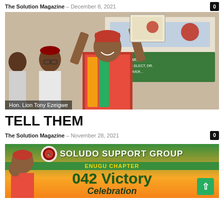The Solution Magazine – December 8, 2021
[Figure (photo): Hon. Lion Tony Ezeigwe holding up a certificate with both hands, wearing a red traditional cap and colorful attire, smiling, with other people in the background]
Hon. Lion Tony Ezeigwe
TELL THEM
The Solution Magazine – November 28, 2021
[Figure (photo): Soludo Support Group Enugu Chapter banner showing '042 Victory Celebration' text on green and yellow background with a person in traditional attire]